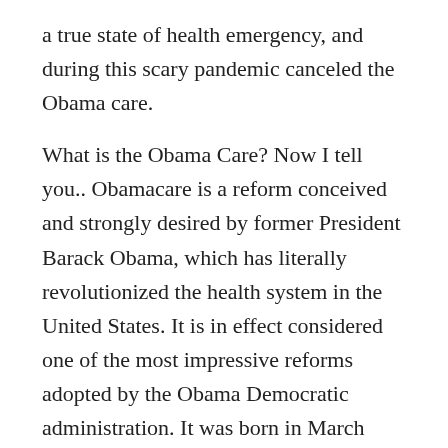a true state of health emergency, and during this scary pandemic canceled the Obama care.

What is the Obama Care? Now I tell you.. Obamacare is a reform conceived and strongly desired by former President Barack Obama, which has literally revolutionized the health system in the United States. It is in effect considered one of the most impressive reforms adopted by the Obama Democratic administration. It was born in March 2010, created to protect more than 30 million people with a health system that until before this reform was strictly private.It allowed everyone to have health insurance and to take care of unemployed relatives and children up to 26 years of age. , by encouraging many citizens to